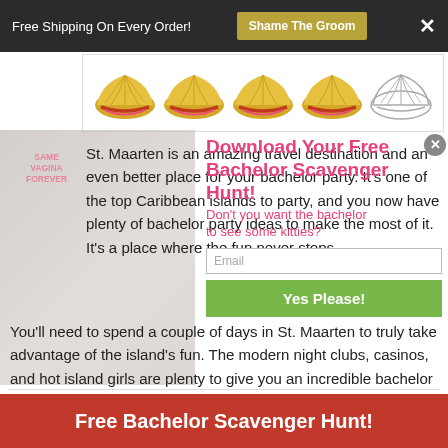Free Shipping On Every Order! | Shame The Groom | ×
[Figure (illustration): Five clam/oyster shell icons in a row — four colored gold/pink, one outline only (uncolored)]
[Figure (photo): Background: woman in baseball cap with 'Same Vagina Forever' text]
[Figure (infographic): Popup overlay: 'Download Your Free Bachelor Scavenger Hunt!' with pink text, email input, green 'Yes Please!' button, and close button]
St. Maarten is an amazing travel destination and an even better place for your bachelor party. It's one of the top Caribbean islands to party, and you now have plenty of bachelor party ideas to make the most of it. It's a place where the fun never stops.
You'll need to spend a couple of days in St. Maarten to truly take advantage of the island's fun. The modern night clubs, casinos, and hot island girls are plenty to give you an incredible bachelor party setting.
Free Bachelor Scavenger Hunt!